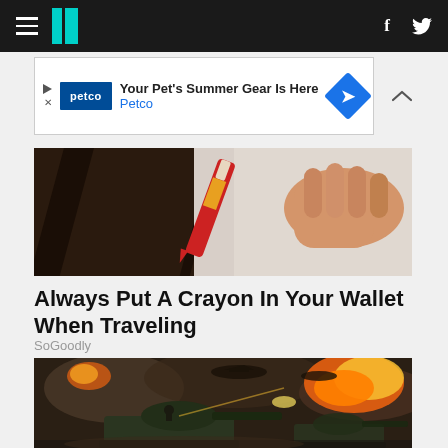HuffPost navigation with hamburger menu, logo, Facebook and Twitter icons
[Figure (screenshot): Petco advertisement banner: 'Your Pet's Summer Gear Is Here' with Petco logo and blue diamond arrow icon]
[Figure (photo): Close-up of a hand holding a red crayon over a dark-colored book or notebook]
Always Put A Crayon In Your Wallet When Traveling
SoGoodly
[Figure (photo): Military tanks in a dramatic battle scene with fire and explosions, aircraft visible in sky]